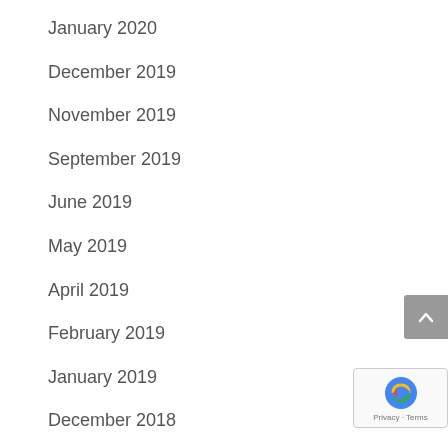January 2020
December 2019
November 2019
September 2019
June 2019
May 2019
April 2019
February 2019
January 2019
December 2018
November 2018